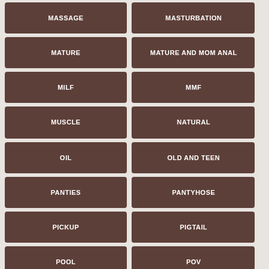MASSAGE
MASTURBATION
MATURE
MATURE AND MOM ANAL
MILF
MMF
MUSCLE
NATURAL
OIL
OLD AND TEEN
PANTIES
PANTYHOSE
PICKUP
PIGTAIL
POOL
POV
PUBLIC
PUSSY LICKING
REAL
RED HEADS